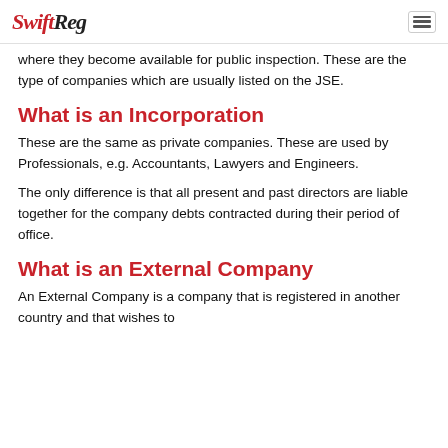SwiftReg
where they become available for public inspection. These are the type of companies which are usually listed on the JSE.
What is an Incorporation
These are the same as private companies. These are used by Professionals, e.g. Accountants, Lawyers and Engineers.
The only difference is that all present and past directors are liable together for the company debts contracted during their period of office.
What is an External Company
An External Company is a company that is registered in another country and that wishes to